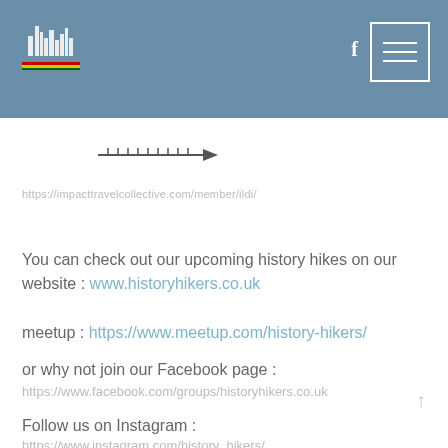[Figure (logo): Website logo with city skyline icon and colored flag stripe]
[Figure (illustration): Hamburger menu icon in white border box]
[Figure (illustration): Arrow/cursor icon pointing right]
https://impacttravelcollective.com/member/ildi/
You can check out our upcoming history hikes on our website : www.historyhikers.co.uk
meetup : https://www.meetup.com/history-hikers/
or why not join our Facebook page : https://www.facebook.com/groups/historyhikers.co.uk
Follow us on Instagram : https://www.instagram.com/history_hikers/